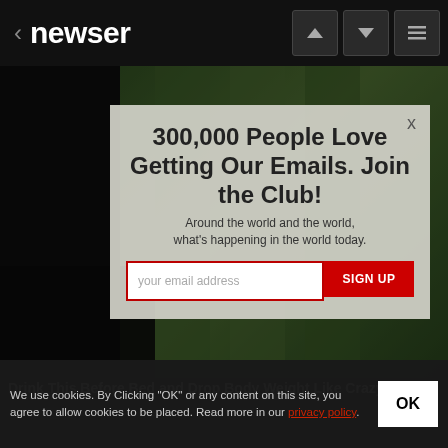< newser
[Figure (photo): Cucumber drinks/green beverage photo as background, with dark overlay on left side]
300,000 People Love Getting Our Emails. Join the Club!
Around the world and the world, what's happening in the world today.
your email address  SIGN UP
Drink This Before Bed and Drop Body Weight Like Crazy
We use cookies. By Clicking "OK" or any content on this site, you agree to allow cookies to be placed. Read more in our privacy policy.